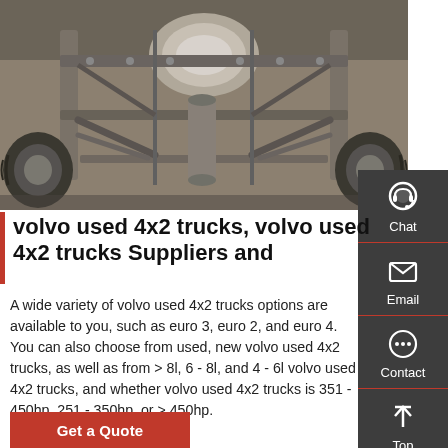[Figure (photo): Underside view of a Volvo truck chassis showing axles, suspension components, tires, and drivetrain components from below.]
volvo used 4x2 trucks, volvo used 4x2 trucks Suppliers and
A wide variety of volvo used 4x2 trucks options are available to you, such as euro 3, euro 2, and euro 4. You can also choose from used, new volvo used 4x2 trucks, as well as from > 8l, 6 - 8l, and 4 - 6l volvo used 4x2 trucks, and whether volvo used 4x2 trucks is 351 - 450hp, 251 - 350hp, or > 450hp.
Get a Quote